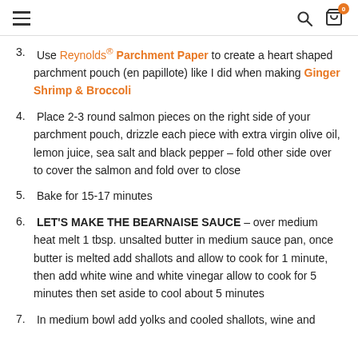navigation header with hamburger menu, search icon, and cart icon with badge 0
3. Use Reynolds® Parchment Paper to create a heart shaped parchment pouch (en papillote) like I did when making Ginger Shrimp & Broccoli
4. Place 2-3 round salmon pieces on the right side of your parchment pouch, drizzle each piece with extra virgin olive oil, lemon juice, sea salt and black pepper – fold other side over to cover the salmon and fold over to close
5. Bake for 15-17 minutes
6. LET'S MAKE THE BEARNAISE SAUCE – over medium heat melt 1 tbsp. unsalted butter in medium sauce pan, once butter is melted add shallots and allow to cook for 1 minute, then add white wine and white vinegar allow to cook for 5 minutes then set aside to cool about 5 minutes
7. In medium bowl add yolks and cooled shallots, wine and